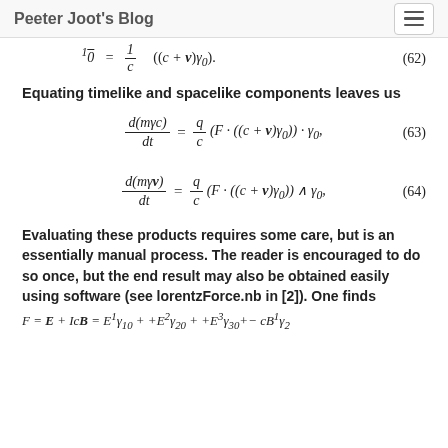Peeter Joot's Blog
Equating timelike and spacelike components leaves us
Evaluating these products requires some care, but is an essentially manual process. The reader is encouraged to do so once, but the end result may also be obtained easily using software (see lorentzForce.nb in [2]). One finds